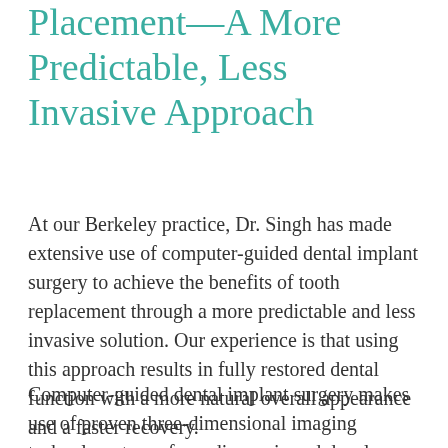Placement—A More Predictable, Less Invasive Approach
At our Berkeley practice, Dr. Singh has made extensive use of computer-guided dental implant surgery to achieve the benefits of tooth replacement through a more predictable and less invasive solution. Our experience is that using this approach results in fully restored dental function with a more natural overall appearance and a faster recovery.
Computer-guided dental implant surgery makes use of proven three-dimensional imaging technology to perform diagnosis and develop a